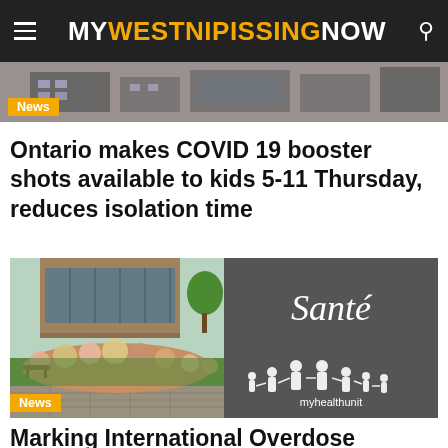MY WESTNIPISSING NOW
[Figure (photo): Top image strip showing a building/street scene]
News
Ontario makes COVID 19 booster shots available to kids 5-11 Thursday, reduces isolation time
[Figure (photo): Split photo: left side shows building with hydrangeas and pavers; right side shows a Santé / myhealthunit sign]
News
Marking International Overdose Awareness Day